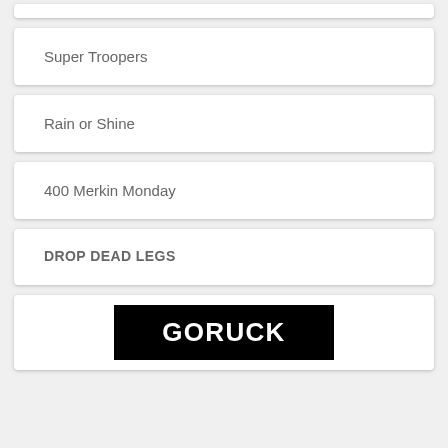Super Troopers
Rain or Shine
400 Merkin Monday
DROP DEAD LEGS
[Figure (logo): GORUCK logo — white bold blocky text on black background]